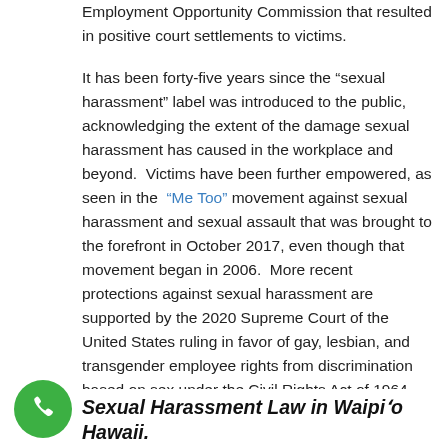Employment Opportunity Commission that resulted in positive court settlements to victims.

It has been forty-five years since the “sexual harassment” label was introduced to the public, acknowledging the extent of the damage sexual harassment has caused in the workplace and beyond. Victims have been further empowered, as seen in the “Me Too” movement against sexual harassment and sexual assault that was brought to the forefront in October 2017, even though that movement began in 2006. More recent protections against sexual harassment are supported by the 2020 Supreme Court of the United States ruling in favor of gay, lesbian, and transgender employee rights from discrimination based on sex under the Civil Rights Act of 1964.
[Figure (other): Green circular phone/call button icon in bottom left corner]
Sexual Harassment Law in Waipiʻo Hawaii.